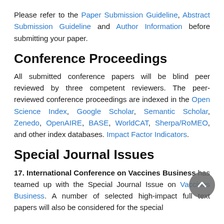Please refer to the Paper Submission Guideline, Abstract Submission Guideline and Author Information before submitting your paper.
Conference Proceedings
All submitted conference papers will be blind peer reviewed by three competent reviewers. The peer-reviewed conference proceedings are indexed in the Open Science Index, Google Scholar, Semantic Scholar, Zenedo, OpenAIRE, BASE, WorldCAT, Sherpa/RoMEO, and other index databases. Impact Factor Indicators.
Special Journal Issues
17. International Conference on Vaccines Business has teamed up with the Special Journal Issue on Vaccines Business. A number of selected high-impact full text papers will also be considered for the special